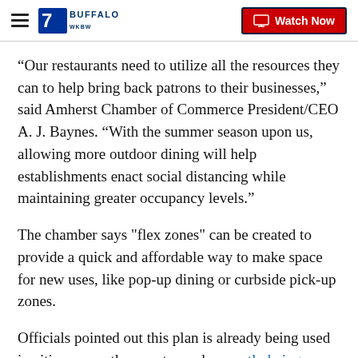7 BUFFALO WKBW | Watch Now
“Our restaurants need to utilize all the resources they can to help bring back patrons to their businesses,” said Amherst Chamber of Commerce President/CEO A. J. Baynes. “With the summer season upon us, allowing more outdoor dining will help establishments enact social distancing while maintaining greater occupancy levels.”
The chamber says "flex zones" can be created to provide a quick and affordable way to make space for new uses, like pop-up dining or curbside pick-up zones.
Officials pointed out this plan is already being used in cities across the country and currently being